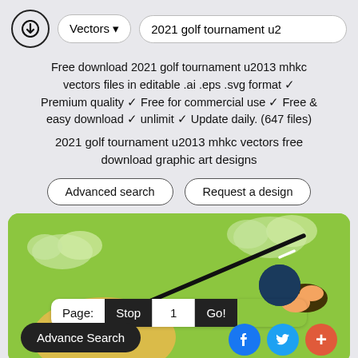Vectors ▾  2021 golf tournament u2
Free download 2021 golf tournament u2013 mhkc vectors files in editable .ai .eps .svg format ✓ Premium quality ✓ Free for commercial use ✓ Free & easy download ✓ unlimit ✓ Update daily. (647 files)
2021 golf tournament u2013 mhkc vectors free download graphic art designs
Advanced search   Request a design
[Figure (illustration): Golf illustration showing a golf club and golfer on a green background with clouds, with pagination controls (Page: Stop 1 Go!), an Advance Search button, and social media buttons (Facebook, Twitter, plus).]